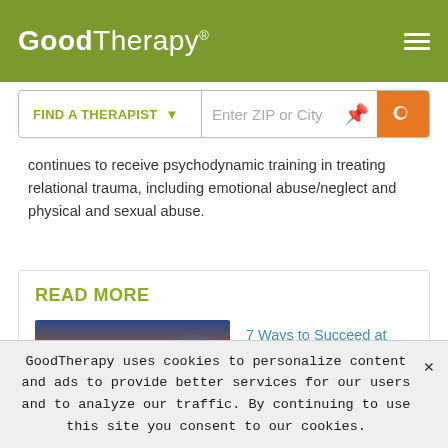GoodTherapy®
continues to receive psychodynamic training in treating relational trauma, including emotional abuse/neglect and physical and sexual abuse.
READ MORE
[Figure (photo): Two people on a mountain at sunset, one helping the other climb up]
7 Ways to Succeed at Couples Therapy
GoodTherapy uses cookies to personalize content and ads to provide better services for our users and to analyze our traffic. By continuing to use this site you consent to our cookies.